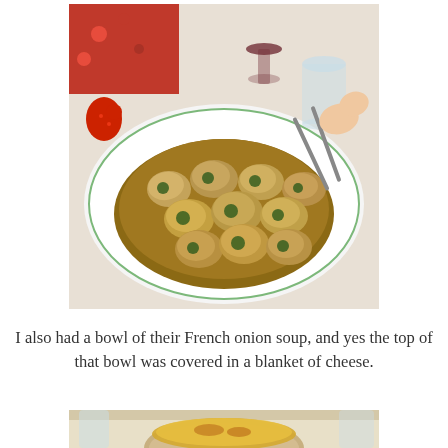[Figure (photo): A plate of escargot (snails in shells) on a metal serving dish at a restaurant table, with wine glasses and silverware visible in the background.]
I also had a bowl of their French onion soup, and yes the top of that bowl was covered in a blanket of cheese.
[Figure (photo): Partial view of a restaurant table setting, showing the top portion of a bowl of French onion soup with a cheese topping, along with glasses and other table items.]